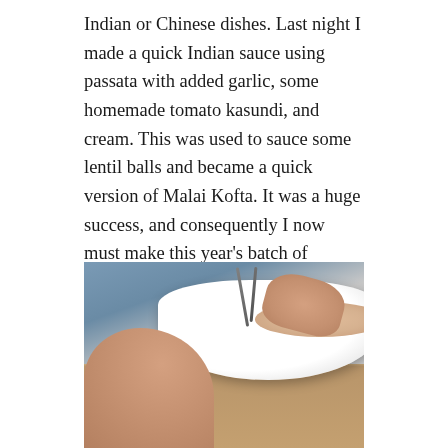Indian or Chinese dishes. Last night I made a quick Indian sauce using passata with added garlic, some homemade tomato kasundi, and cream. This was used to sauce some lentil balls and became a quick version of Malai Kofta. It was a huge success, and consequently I now must make this year's batch of Kasundi, which also uses another kilo of plain tomato thick passata. A few spoons of passata can be added to a stir fry along with soy or oyster sauce. Passata enriched with onion, garlic, chilli and smoked pimento is an excellent sauce for baked beans. And when tomatoes are sad and woody in winter, enliven them with a tub of passata to make a brunch shakshuka.
[Figure (photo): A person (wearing blue) sitting at a wooden table with a white bowl of food and utensils. Hands visible on the table around the bowl.]